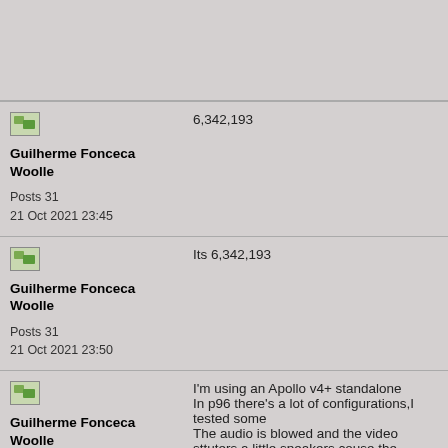[partial post at top]
Guilherme Fonceca Woolle
Posts 31
21 Oct 2021 23:45

6,342,193
Guilherme Fonceca Woolle
Posts 31
21 Oct 2021 23:50

Its 6,342,193
Guilherme Fonceca Woolle
Posts 31
22 Oct 2021 01:12

I'm using an Apollo v4+ standalone
In p96 there's a lot of configurations,I tested some
The audio is blowed and the video sttuters a little speakers couse the games the audio is fine.
[partial post at bottom]